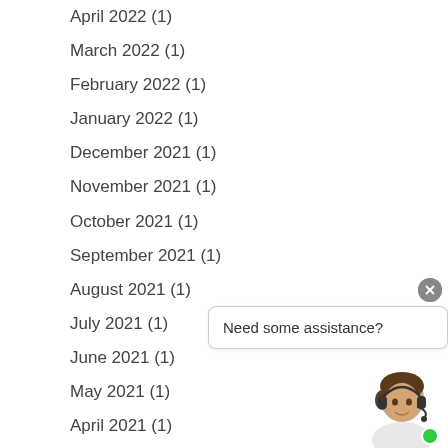April 2022 (1)
March 2022 (1)
February 2022 (1)
January 2022 (1)
December 2021 (1)
November 2021 (1)
October 2021 (1)
September 2021 (1)
August 2021 (1)
July 2021 (1)
June 2021 (1)
May 2021 (1)
April 2021 (1)
March 2021 (1)
February 2021 (1)
[Figure (illustration): Chat widget with close button, speech bubble saying 'Need some assistance?', and a customer service avatar with headset and green online indicator]